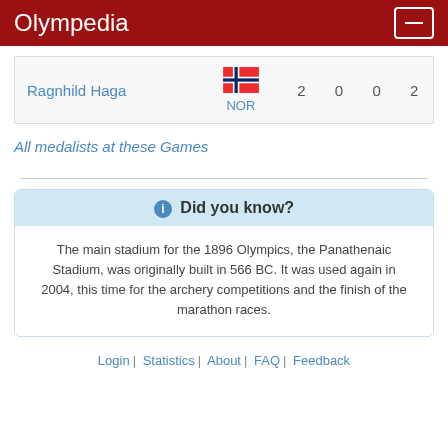Olympedia
|  |  | Gold | Silver | Bronze | Total |
| --- | --- | --- | --- | --- | --- |
| Ragnhild Haga | NOR | 2 | 0 | 0 | 2 |
All medalists at these Games
Did you know?
The main stadium for the 1896 Olympics, the Panathenaic Stadium, was originally built in 566 BC. It was used again in 2004, this time for the archery competitions and the finish of the marathon races.
Login | Statistics | About | FAQ | Feedback